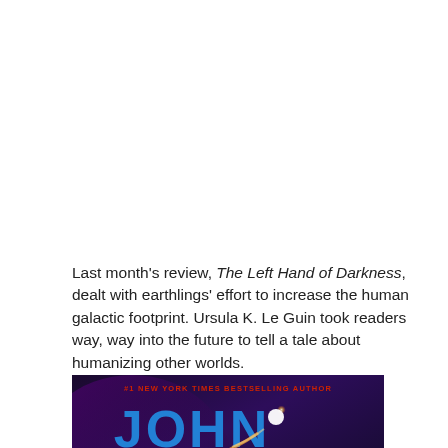Last month's review, The Left Hand of Darkness, dealt with earthlings' effort to increase the human galactic footprint. Ursula K. Le Guin took readers way, way into the future to tell a tale about humanizing other worlds.
[Figure (photo): Book cover showing 'JOHN SANFORD' in large blue stylized letters on a dark purple/navy background, with a comet or shooting star graphic. Top text reads '#1 NEW YORK TIMES BESTSELLING AUTHOR' in red. The bottom shows 'SANFORD' in large block letters.]